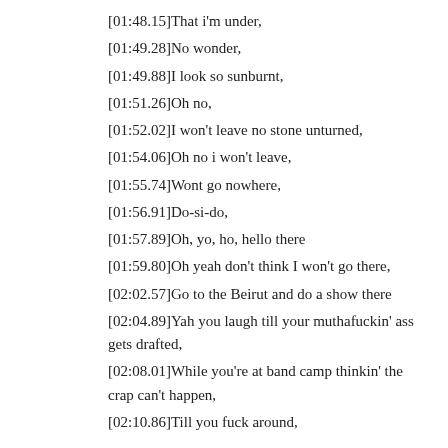[01:48.15]That i'm under,
[01:49.28]No wonder,
[01:49.88]I look so sunburnt,
[01:51.26]Oh no,
[01:52.02]I won't leave no stone unturned,
[01:54.06]Oh no i won't leave,
[01:55.74]Wont go nowhere,
[01:56.91]Do-si-do,
[01:57.89]Oh, yo, ho, hello there
[01:59.80]Oh yeah don't think I won't go there,
[02:02.57]Go to the Beirut and do a show there
[02:04.89]Yah you laugh till your muthafuckin' ass gets drafted,
[02:08.01]While you're at band camp thinkin' the crap can't happen,
[02:10.86]Till you fuck around,